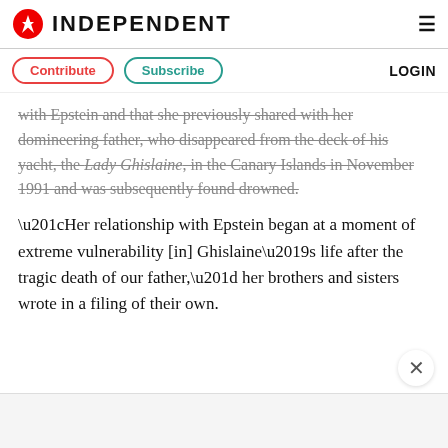INDEPENDENT
Contribute   Subscribe   LOGIN
with Epstein and that she previously shared with her domineering father, who disappeared from the deck of his yacht, the Lady Ghislaine, in the Canary Islands in November 1991 and was subsequently found drowned.
“Her relationship with Epstein began at a moment of extreme vulnerability [in] Ghislaine’s life after the tragic death of our father,” her brothers and sisters wrote in a filing of their own.